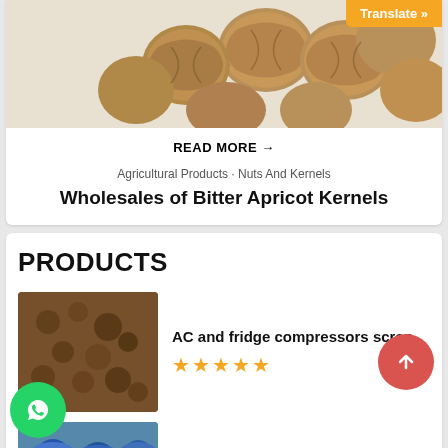[Figure (photo): Photo of bitter apricot kernels/walnuts with orange Translate button overlay]
READ MORE →
Agricultural Products · Nuts And Kernels
Wholesales of Bitter Apricot Kernels
PRODUCTS
[Figure (photo): Photo of AC and fridge compressors scrap]
AC and fridge compressors scrap
★★★★★
[Figure (photo): Photo of HDPE drum scrap and regrind (blue barrels)]
HDPE Drum Scrap and Regrind